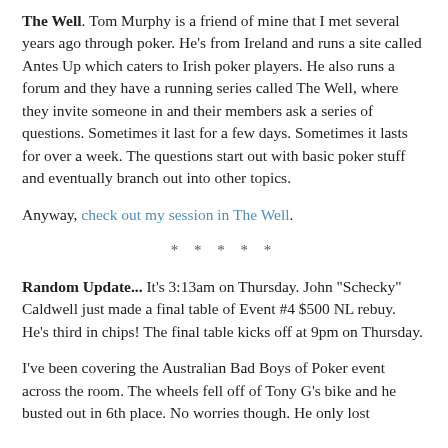The Well. Tom Murphy is a friend of mine that I met several years ago through poker. He's from Ireland and runs a site called Antes Up which caters to Irish poker players. He also runs a forum and they have a running series called The Well, where they invite someone in and their members ask a series of questions. Sometimes it last for a few days. Sometimes it lasts for over a week. The questions start out with basic poker stuff and eventually branch out into other topics.
Anyway, check out my session in The Well.
* * * * *
Random Update... It's 3:13am on Thursday. John "Schecky" Caldwell just made a final table of Event #4 $500 NL rebuy. He's third in chips! The final table kicks off at 9pm on Thursday.
I've been covering the Australian Bad Boys of Poker event across the room. The wheels fell off of Tony G's bike and he busted out in 6th place. No worries though. He only lost